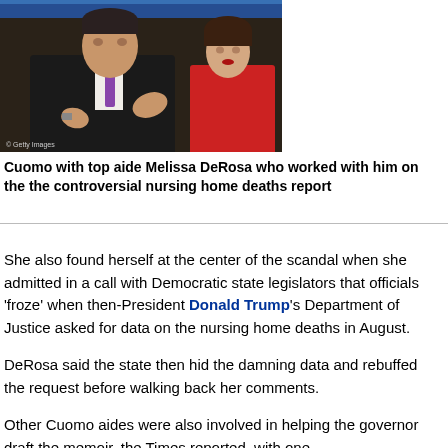[Figure (photo): Photo of Cuomo with top aide Melissa DeRosa at a press event. Cuomo is in a dark suit with a purple tie, gesturing with his hands. DeRosa is in a red sleeveless dress. A TV screen is visible in the background. Getty Images watermark visible.]
Cuomo with top aide Melissa DeRosa who worked with him on the the controversial nursing home deaths report
She also found herself at the center of the scandal when she admitted in a call with Democratic state legislators that officials 'froze' when then-President Donald Trump's Department of Justice asked for data on the nursing home deaths in August.
DeRosa said the state then hid the damning data and rebuffed the request before walking back her comments.
Other Cuomo aides were also involved in helping the governor draft the memoir, the Times reported, with one